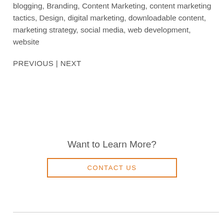blogging, Branding, Content Marketing, content marketing tactics, Design, digital marketing, downloadable content, marketing strategy, social media, web development, website
PREVIOUS | NEXT
Want to Learn More?
CONTACT US